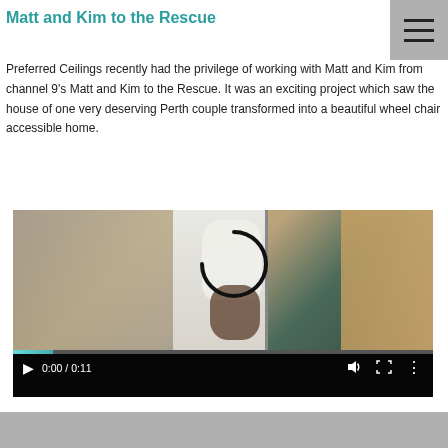Matt and Kim to the Rescue
Preferred Ceilings recently had the privilege of working with Matt and Kim from channel 9's Matt and Kim to the Rescue. It was an exciting project which saw the house of one very deserving Perth couple transformed into a beautiful wheel chair accessible home.
[Figure (screenshot): Embedded video player showing a scene inside a house hallway/corridor with two people visible. Video controls show 0:00 / 0:11 with play, volume, fullscreen, and more options buttons. A progress bar is visible at the bottom of the video.]